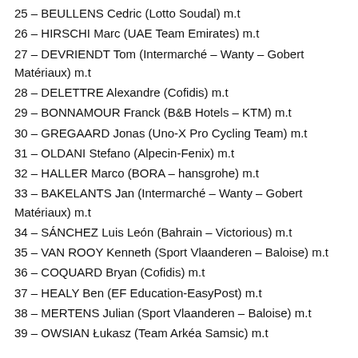25 – BEULLENS Cedric (Lotto Soudal) m.t
26 – HIRSCHI Marc (UAE Team Emirates) m.t
27 – DEVRIENDT Tom (Intermarché – Wanty – Gobert Matériaux) m.t
28 – DELETTRE Alexandre (Cofidis) m.t
29 – BONNAMOUR Franck (B&B Hotels – KTM) m.t
30 – GREGAARD Jonas (Uno-X Pro Cycling Team) m.t
31 – OLDANI Stefano (Alpecin-Fenix) m.t
32 – HALLER Marco (BORA – hansgrohe) m.t
33 – BAKELANTS Jan (Intermarché – Wanty – Gobert Matériaux) m.t
34 – SÁNCHEZ Luis León (Bahrain – Victorious) m.t
35 – VAN ROOY Kenneth (Sport Vlaanderen – Baloise) m.t
36 – COQUARD Bryan (Cofidis) m.t
37 – HEALY Ben (EF Education-EasyPost) m.t
38 – MERTENS Julian (Sport Vlaanderen – Baloise) m.t
39 – OWSIAN Łukasz (Team Arkéa Samsic) m.t